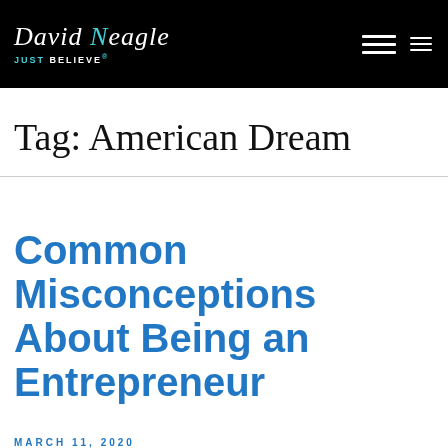David Neagle JUST BELIEVE®
Tag: American Dream
Common Misconceptions About Being an Entrepreneur
MARCH 11, 2020